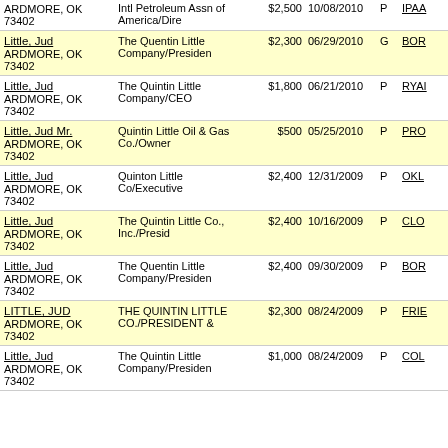| Name/Address | Employer/Occupation | Amount | Date | Type | Committee |
| --- | --- | --- | --- | --- | --- |
| ARDMORE, OK 73402 | Intl Petroleum Assn of America/Dire | $2,500 | 10/08/2010 | P | IPAA |
| Little, Jud
ARDMORE, OK 73402 | The Quentin Little Company/Presiden | $2,300 | 06/29/2010 | G | BOR |
| Little, Jud
ARDMORE, OK 73402 | The Quintin Little Company/CEO | $1,800 | 06/21/2010 | P | RYAI |
| Little, Jud Mr.
ARDMORE, OK 73402 | Quintin Little Oil & Gas Co./Owner | $500 | 05/25/2010 | P | PRO |
| Little, Jud
ARDMORE, OK 73402 | Quinton Little Co/Executive | $2,400 | 12/31/2009 | P | OKLI |
| Little, Jud
ARDMORE, OK 73402 | The Quintin Little Co., Inc./Presid | $2,400 | 10/16/2009 | P | CLO |
| Little, Jud
ARDMORE, OK 73402 | The Quentin Little Company/Presiden | $2,400 | 09/30/2009 | P | BOR |
| LITTLE, JUD
ARDMORE, OK 73402 | THE QUINTIN LITTLE CO./PRESIDENT & | $2,300 | 08/24/2009 | P | FRIE |
| Little, Jud
ARDMORE, OK 73402 | The Quintin Little Company/Presiden | $1,000 | 08/24/2009 | P | COL |